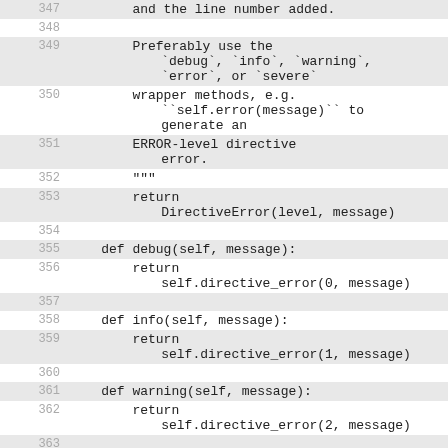Code listing lines 347-365, Python source code showing directive error helper methods
347     and the line number added.
348
349         Preferably use the
    `debug`, `info`, `warning`,
    `error`, or `severe`
350         wrapper methods, e.g.
    ``self.error(message)`` to
    generate an
351         ERROR-level directive
    error.
352         """
353         return
    DirectiveError(level, message)
354
355     def debug(self, message):
356         return
    self.directive_error(0, message)
357
358     def info(self, message):
359         return
    self.directive_error(1, message)
360
361     def warning(self, message):
362         return
    self.directive_error(2, message)
363
364     def error(self, message):
365         return
    self.directive_error(3, message)